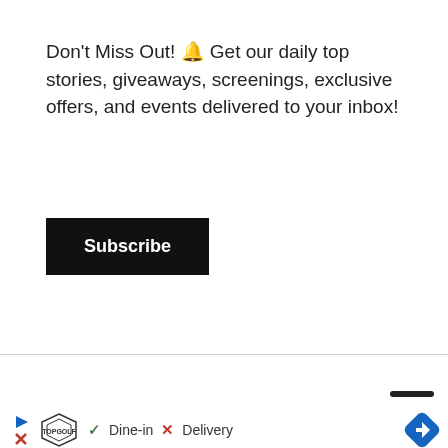×
Don't Miss Out! 🔔 Get our daily top stories, giveaways, screenings, exclusive offers, and events delivered to your inbox!
Subscribe
[Figure (infographic): Advertisement banner for Topgolf showing logo, blue play icon, X icon, checkmark with 'Dine-in', red X with 'Delivery', and blue diamond navigation icon]